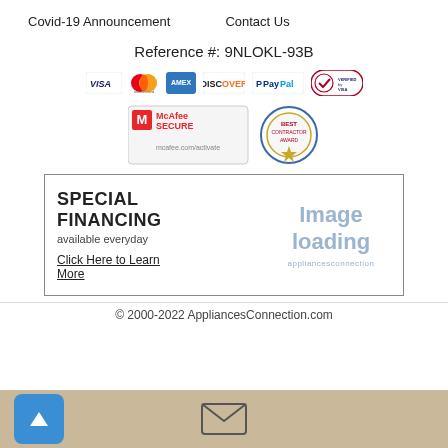Covid-19 Announcement    Contact Us
Reference #: 9NLOKL-93B
[Figure (logo): Payment method logos: VISA, Mastercard, American Express, Discover, PayPal, Verified by Visa]
[Figure (logo): McAfee SECURE badge and Best Contractor Award badge]
SPECIAL FINANCING
available everyday
Click Here to Learn More
[Figure (other): Image loading placeholder for appliancesconnection]
© 2000-2022 AppliancesConnection.com